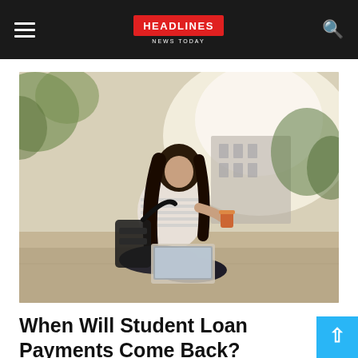HEADLINES News Today
[Figure (photo): A young woman with long dark hair sitting cross-legged outdoors on pavement, holding a coffee cup and looking at a laptop, wearing a striped shirt. A backpack is beside her. A blurred building and trees are visible in the background.]
When Will Student Loan Payments Come Back?